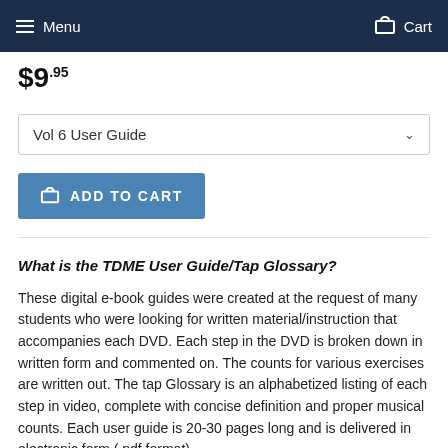Menu   Cart
$9.95
Vol 6 User Guide
ADD TO CART
What is the TDME User Guide/Tap Glossary?
These digital e-book guides were created at the request of many students who were looking for written material/instruction that accompanies each DVD. Each step in the DVD is broken down in written form and commented on. The counts for various exercises are written out. The tap Glossary is an alphabetized listing of each step in video, complete with concise definition and proper musical counts. Each user guide is 20-30 pages long and is delivered in electronic form ( pdf format).